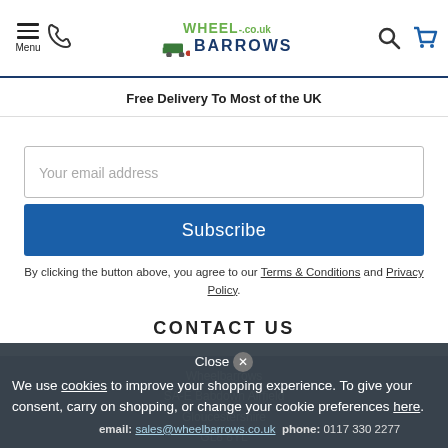Menu | phone icon | WHEEL-.co.uk BARROWS [logo] | search icon | cart icon
Free Delivery To Most of the UK
Your email address
Subscribe
By clicking the button above, you agree to our Terms & Conditions and Privacy Policy.
CONTACT US
Wheelbarrows
SA-E Babdown Airfield
Gloucestershire
GL8 8YL
email: sales@wheelbarrows.co.uk  phone: 0117 330 2277
Close ✕
We use cookies to improve your shopping experience. To give your consent, carry on shopping, or change your cookie preferences here.